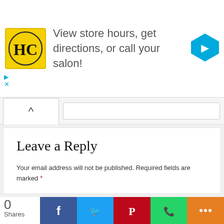[Figure (infographic): Advertisement banner for a salon chain (HC logo) with text 'View store hours, get directions, or call your salon!' and a blue navigation arrow icon on the right.]
Leave a Reply
Your email address will not be published. Required fields are marked *
Comment *
[Figure (infographic): Social share bar at bottom with share count '0 Shares' and buttons for Facebook, Twitter, Pinterest, WhatsApp, and More (share icon).]